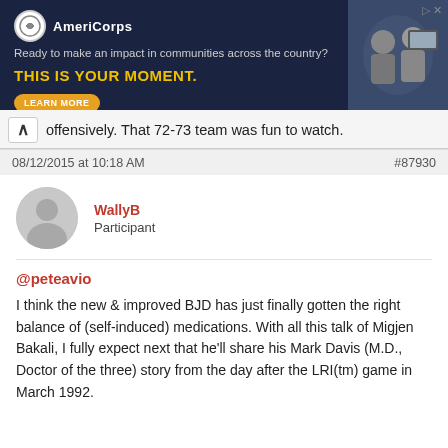[Figure (screenshot): AmeriCorps advertisement banner with dark navy background. Logo and text: 'Ready to make an impact in communities across the country? THIS IS YOUR MOMENT.' with a LEARN MORE button and photo of people on right side.]
offensively. That 72-73 team was fun to watch.
08/12/2015 at 10:18 AM   #87930
WallyB
Participant
@peteavio
I think the new & improved BJD has just finally gotten the right balance of (self-induced) medications. With all this talk of Migjen Bakali, I fully expect next that he'll share his Mark Davis (M.D., Doctor of the three) story from the day after the LRI(tm) game in March 1992.